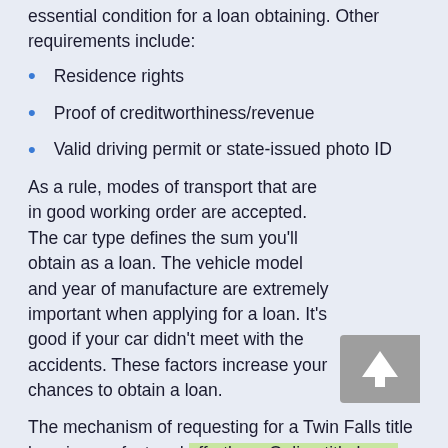essential condition for a loan obtaining. Other requirements include:
Residence rights
Proof of creditworthiness/revenue
Valid driving permit or state-issued photo ID
As a rule, modes of transport that are in good working order are accepted. The car type defines the sum you'll obtain as a loan. The vehicle model and year of manufacture are extremely important when applying for a loan. It's good if your car didn't meet with the accidents. These factors increase your chances to obtain a loan.
The mechanism of requesting for a Twin Falls title loan is very fast and effortless. Online title loans are considered to be the most convenient way. No store visit and no phone calls are needed when you are requesting for title loans online. After your papers have been reviewed and your loan